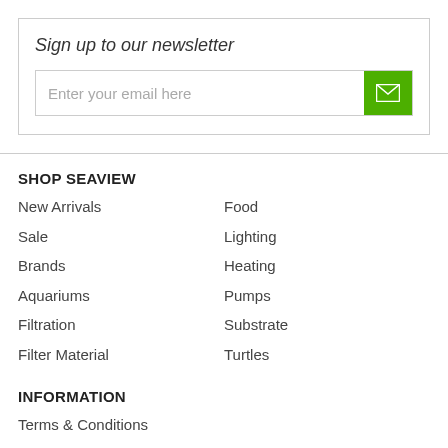Sign up to our newsletter
Enter your email here
SHOP SEAVIEW
New Arrivals
Sale
Brands
Aquariums
Filtration
Filter Material
Food
Lighting
Heating
Pumps
Substrate
Turtles
INFORMATION
Terms & Conditions